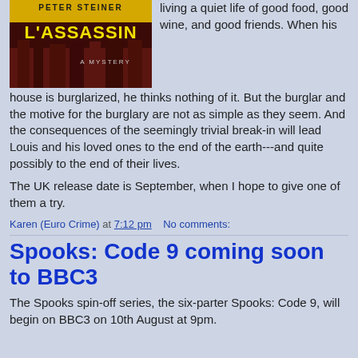[Figure (illustration): Book cover for 'L'Assassin: A Mystery' by Peter Steiner, showing bold yellow title text on a dark red/brown background with cityscape imagery]
living a quiet life of good food, good wine, and good friends. When his house is burglarized, he thinks nothing of it. But the burglar and the motive for the burglary are not as simple as they seem. And the consequences of the seemingly trivial break-in will lead Louis and his loved ones to the end of the earth---and quite possibly to the end of their lives.
The UK release date is September, when I hope to give one of them a try.
Karen (Euro Crime) at 7:12 pm    No comments:
Spooks: Code 9 coming soon to BBC3
The Spooks spin-off series, the six-parter Spooks: Code 9, will begin on BBC3 on 10th August at 9pm.